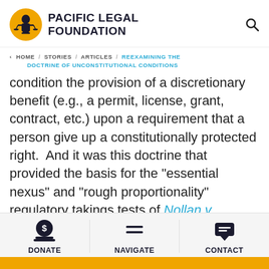PACIFIC LEGAL FOUNDATION
< HOME / STORIES / ARTICLES / REEXAMINING THE DOCTRINE OF UNCONSTITUTIONAL CONDITIONS
condition the provision of a discretionary benefit (e.g., a permit, license, grant, contract, etc.) upon a requirement that a person give up a constitutionally protected right.  And it was this doctrine that provided the basis for the "essential nexus" and "rough proportionality" regulatory takings tests of Nollan v. California Coastal Commission (1987) and Dolan v. City of Tigard (1994), which strictly limit the government's
DONATE   NAVIGATE   CONTACT